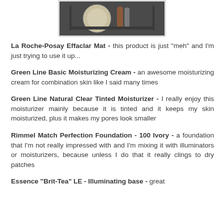[Figure (photo): A photo showing makeup products including a round compact and other cosmetics in a dark tray]
La Roche-Posay Effaclar Mat - this product is just "meh" and I'm just trying to use it up...
Green Line Basic Moisturizing Cream - an awesome moisturizing cream for combination skin like I said many times
Green Line Natural Clear Tinted Moisturizer - I really enjoy this moisturizer mainly because it is tinted and it keeps my skin moisturized, plus it makes my pores look smaller
Rimmel Match Perfection Foundation - 100 Ivory - a foundation that I'm not really impressed with and I'm mixing it with illuminators or moisturizers, because unless I do that it really clings to dry patches
Essence "Brit-Tea" LE - Illuminating base - great